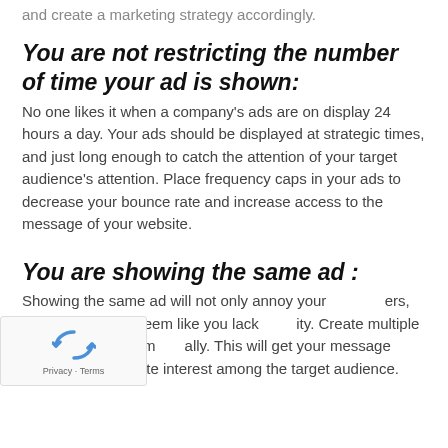and create a marketing strategy accordingly.
You are not restricting the number of time your ad is shown:
No one likes it when a company's ads are on display 24 hours a day. Your ads should be displayed at strategic times, and just long enough to catch the attention of your target audience's attention. Place frequency caps in your ads to decrease your bounce rate and increase access to the message of your website.
You are showing the same ad :
Showing the same ad will not only annoy your users, but it will make it seem like you lack creativity. Create multiple ads and rotate them gradually. This will get your message across and generate interest among the target audience.